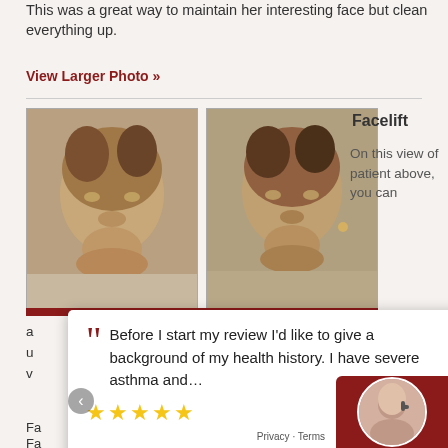This was a great way to maintain her interesting face but clean everything up.
View Larger Photo »
[Figure (photo): Before and after facelift photos showing a woman's face from an oblique angle, with visible aging features in the before photo and improved jawline and facial definition in the after photo.]
Facelift
On this view of patient above, you can
a... yline and u... v...
Before I start my review I'd like to give a background of my health history. I have severe asthma and...
★★★★★
Lisa view post
Fa... Fa... UPRC...
Privacy · Terms